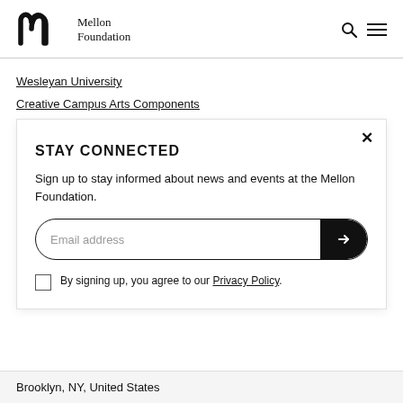[Figure (logo): Mellon Foundation logo with stylized 'm' and text 'Mellon Foundation']
Wesleyan University
Creative Campus Arts Components
STAY CONNECTED
Sign up to stay informed about news and events at the Mellon Foundation.
Email address
By signing up, you agree to our Privacy Policy.
Brooklyn, NY, United States